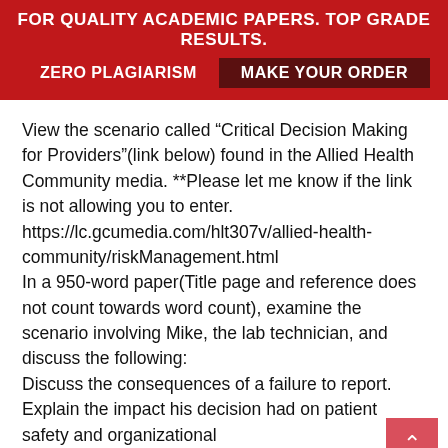FOR QUALITY ACADEMIC PAPERS. TOP GRADE RESULTS. ZERO PLAGIARISM MAKE YOUR ORDER
View the scenario called “Critical Decision Making for Providers”(link below) found in the Allied Health Community media. **Please let me know if the link is not allowing you to enter.
https://lc.gcumedia.com/hlt307v/allied-health-community/riskManagement.html
In a 950-word paper(Title page and reference does not count towards word count), examine the scenario involving Mike, the lab technician, and discuss the following:
Discuss the consequences of a failure to report.
Explain the impact his decision had on patient safety and organizational